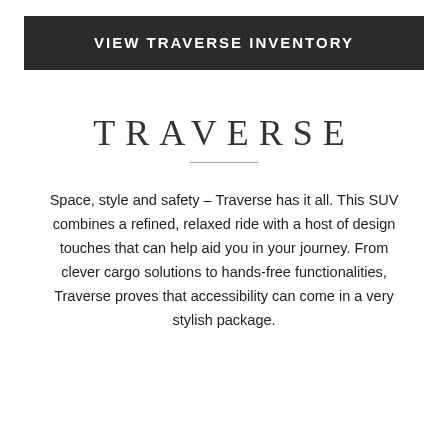[Figure (other): Dark banner button with text VIEW TRAVERSE INVENTORY]
TRAVERSE
Space, style and safety – Traverse has it all. This SUV combines a refined, relaxed ride with a host of design touches that can help aid you in your journey. From clever cargo solutions to hands-free functionalities, Traverse proves that accessibility can come in a very stylish package.